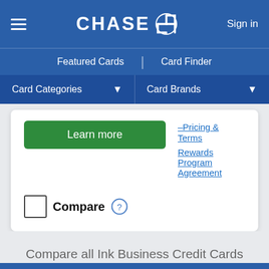CHASE — Sign in
Featured Cards | Card Finder
Card Categories   Card Brands
Learn more
Pricing & Terms
Rewards Program Agreement
Compare
Compare all Ink Business Credit Cards
Compare